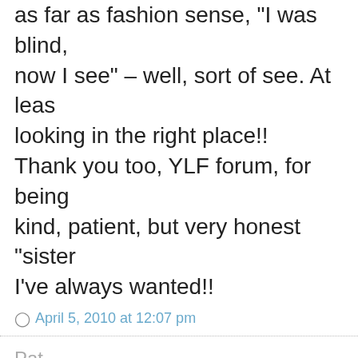as far as fashion sense, "I was blind, now I see" – well, sort of see. At least looking in the right place!! Thank you too, YLF forum, for being kind, patient, but very honest "sisters" I've always wanted!!
April 5, 2010 at 12:07 pm
Pat
A special "thanks" to Angie, Gregg a